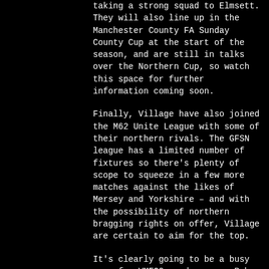taking a strong squad to Elmsett. They will also line up in the Manchester County FA Sunday County Cup at the start of the season, and are still in talks over the Northern Cup, so watch this space for further information coming soon.
Finally, Village have also joined the M62 Unite League with some of their northern rivals. The GFSN league has a limited number of fixtures so there's plenty of scope to squeeze in a few more matches against the likes of Mersey and Yorkshire – and with the possibility of northern bragging rights on offer, Village are certain to aim for the top.
It's clearly going to be a busy year for VMFC2, and manager Rob McPherson told us: "It's been great to see so many people at training right through the summer. We're involved in a lot of different things this season so knowing the players are up for it means I can take a strong team into every game.